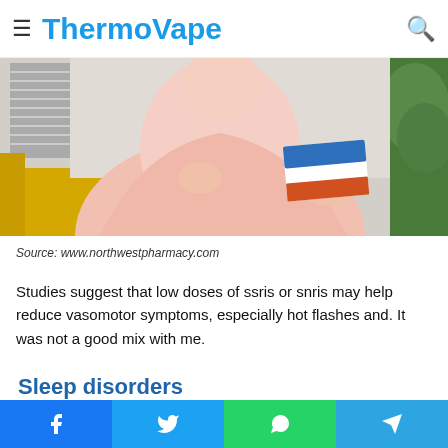ThermoVape
[Figure (photo): Person in pink shirt holding a medication box, with yellow chair and green plant in background]
Source: www.northwestpharmacy.com
Studies suggest that low doses of ssris or snris may help reduce vasomotor symptoms, especially hot flashes and. It was not a good mix with me.
Sleep disorders
ARMODAFINIL